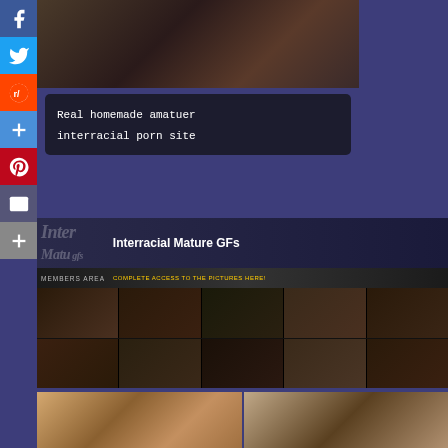[Figure (screenshot): Social media share sidebar with Facebook, Twitter, Reddit, Share, Pinterest, Email, and Share buttons on left side]
[Figure (screenshot): Top banner image with caption 'Real homemade amatuer interracial porn site' in monospace font on dark background]
[Figure (screenshot): Interracial Mature GFs website banner with members area grid of thumbnail images]
[Figure (screenshot): Two bottom thumbnail images side by side]